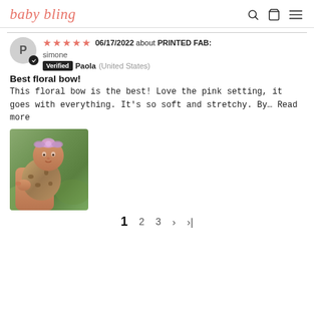baby bling
06/17/2022 about PRINTED FAB: simone
Verified Paola (United States)
Best floral bow!
This floral bow is the best! Love the pink setting, it goes with everything. It's so soft and stretchy. By... Read more
[Figure (photo): Baby wearing a floral bow headband and leopard print outfit, held by an adult outdoors on grass]
1  2  3  ›  ›|